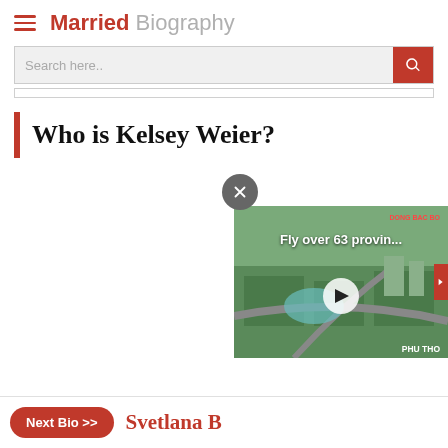Married Biography
Search here..
Who is Kelsey Weier?
[Figure (screenshot): Video thumbnail showing aerial view of city with text 'Fly over 63 provin...' and location label 'PHU THO']
Next Bio >> Svetlana B